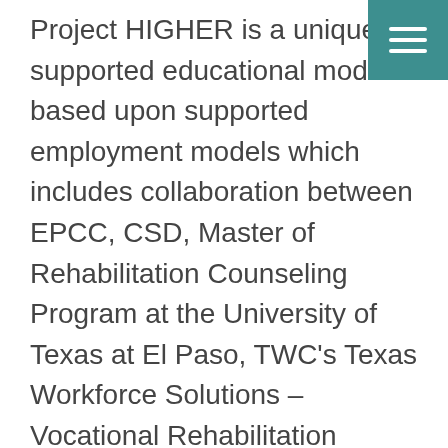Project HIGHER is a unique supported educational model based upon supported employment models which includes collaboration between EPCC, CSD, Master of Rehabilitation Counseling Program at the University of Texas at El Paso, TWC's Texas Workforce Solutions – Vocational Rehabilitation Services (TWS-VRS), Volar Center for Independent Living, Education Service Center-Region 19 and other community partners to help participants succeed in post-secondary education and ultimately, achieve employment. Project HIGHER partners collaborated on this